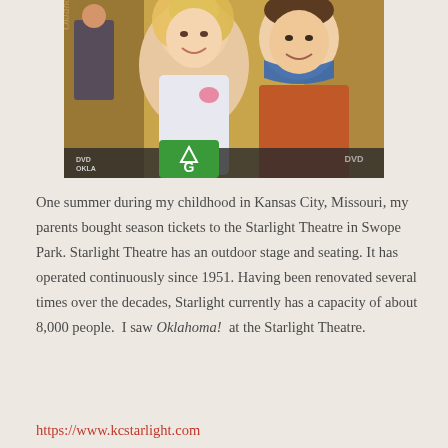[Figure (photo): Photo of an Oklahoma! DVD cover showing a smiling woman and a man in a bandana/cowboy outfit, with a green 'G' rating badge visible]
One summer during my childhood in Kansas City, Missouri, my parents bought season tickets to the Starlight Theatre in Swope Park. Starlight Theatre has an outdoor stage and seating. It has operated continuously since 1951. Having been renovated several times over the decades, Starlight currently has a capacity of about 8,000 people.  I saw Oklahoma!  at the Starlight Theatre.
https://www.kcstarlight.com